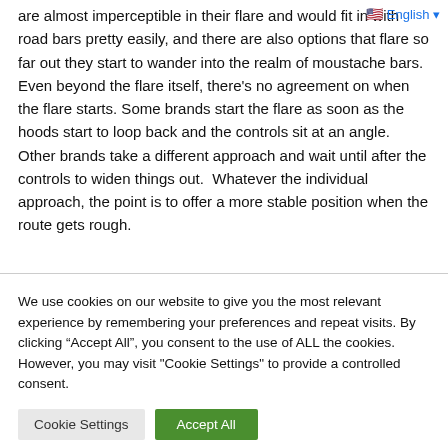are almost imperceptible in their flare and would fit in with road bars pretty easily, and there are also options that flare so far out they start to wander into the realm of moustache bars. Even beyond the flare itself, there's no agreement on when the flare starts. Some brands start the flare as soon as the hoods start to loop back and the controls sit at an angle. Other brands take a different approach and wait until after the controls to widen things out.  Whatever the individual approach, the point is to offer a more stable position when the route gets rough.
English
We use cookies on our website to give you the most relevant experience by remembering your preferences and repeat visits. By clicking "Accept All", you consent to the use of ALL the cookies. However, you may visit "Cookie Settings" to provide a controlled consent.
Cookie Settings
Accept All